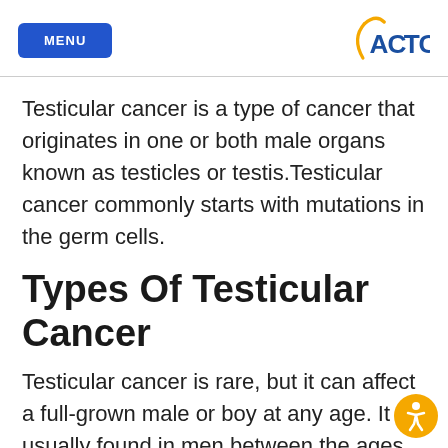MENU | ACTC
Testicular cancer is a type of cancer that originates in one or both male organs known as testicles or testis.Testicular cancer commonly starts with mutations in the germ cells.
Types Of Testicular Cancer
Testicular cancer is rare, but it can affect a full-grown male or boy at any age. It is usually found in men between the ages of 1...